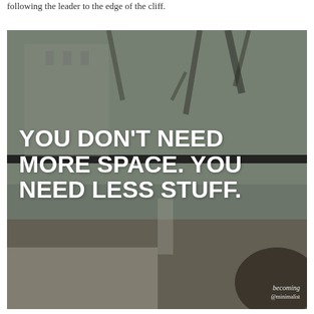following the leader to the edge of the cliff.
[Figure (photo): A minimalist lifestyle quote image overlay on a blurred photo of a room with plants and trees visible through large windows. Bold white text reads: YOU DON'T NEED MORE SPACE. YOU NEED LESS STUFF. Attribution to 'becoming @minimalist' in the bottom right corner.]